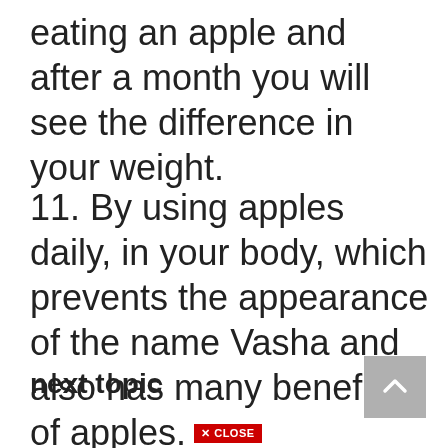eating an apple and after a month you will see the difference in your weight.
11. By using apples daily, in your body, which prevents the appearance of the name Vasha and also has many benefits of apples.
next topic